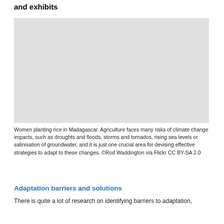and exhibits
[Figure (photo): Photograph of women planting rice in Madagascar, representing agriculture facing climate change impacts.]
Women planting rice in Madagascar. Agriculture faces many risks of climate change impacts, such as droughts and floods, storms and tornados, rising sea levels or salinisation of groundwater, and it is just one crucial area for devising effective strategies to adapt to these changes. ©Rod Waddington via Flickr CC BY-SA 2.0
Adaptation barriers and solutions
There is quite a lot of research on identifying barriers to adaptation,